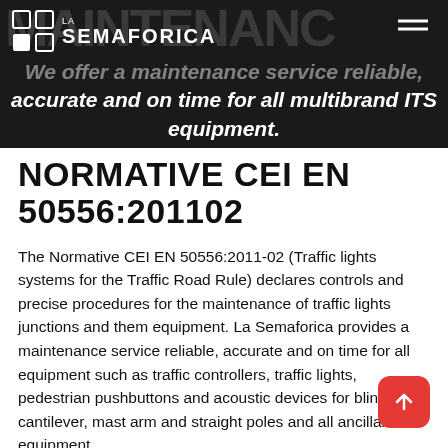[Figure (screenshot): Hero banner with dark background showing La Semaforica logo, hamburger menu icon, and italic white text: 'We offer a maintenance service reliable, accurate and on time for all multibrand ITS equipment.']
NORMATIVE CEI EN 50556:201102
The Normative CEI EN 50556:2011-02 (Traffic lights systems for the Traffic Road Rule) declares controls and precise procedures for the maintenance of traffic lights junctions and them equipment. La Semaforica provides a maintenance service reliable, accurate and on time for all equipment such as traffic controllers, traffic lights, pedestrian pushbuttons and acoustic devices for blind, cantilever, mast arm and straight poles and all ancillary equipment.